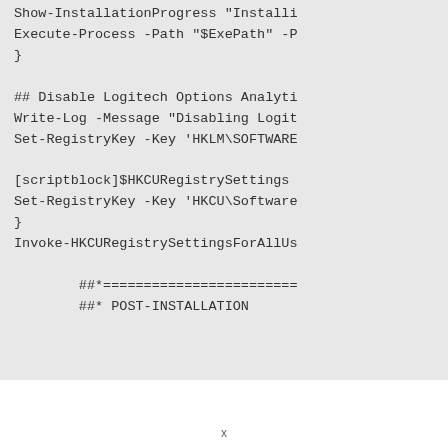Show-InstallationProgress "Installi
Execute-Process -Path "$ExePath" -P
}

## Disable Logitech Options Analyti
Write-Log -Message "Disabling Logit
Set-RegistryKey -Key 'HKLM\SOFTWARE

[scriptblock]$HKCURegistrySettings
Set-RegistryKey -Key 'HKCU\Software
}
Invoke-HKCURegistrySettingsForAllUs

        ##*========================
        ##* POST-INSTALLATION